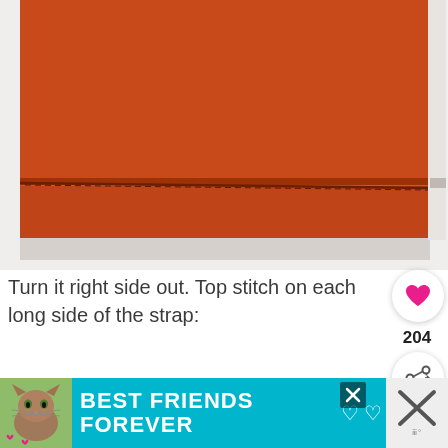[Figure (photo): Close-up of orange fabric folded, showing a stitched seam running horizontally across the folded edge, on a white background.]
Turn it right side out. Top stitch on each long side of the strap:
[Figure (photo): Pink floral patterned fabric rolled/folded, showing flower pattern on pink background.]
[Figure (screenshot): Advertisement banner with teal background, cat image, and text 'BEST FRIENDS FOREVER' in bold white letters with hearts icons. Also a 'WHAT'S NEXT' panel showing DIY Cranberry thumbnail.]